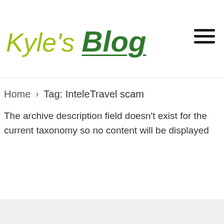[Figure (logo): Kyle's Blog logo — 'Kyle's' in yellow-green italic handwriting font, 'Blog' in dark green bold italic with underline]
Home › Tag: InteleTravel scam
The archive description field doesn't exist for the current taxonomy so no content will be displayed